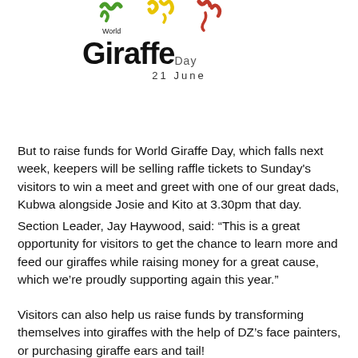[Figure (logo): World Giraffe Day logo with colourful decorative marks in green, yellow and red above the text 'World Giraffe Day' and '21 June']
But to raise funds for World Giraffe Day, which falls next week, keepers will be selling raffle tickets to Sunday's visitors to win a meet and greet with one of our great dads, Kubwa alongside Josie and Kito at 3.30pm that day.
Section Leader, Jay Haywood, said: “This is a great opportunity for visitors to get the chance to learn more and feed our giraffes while raising money for a great cause, which we’re proudly supporting again this year.”
Visitors can also help us raise funds by transforming themselves into giraffes with the help of DZ’s face painters, or purchasing giraffe ears and tail!